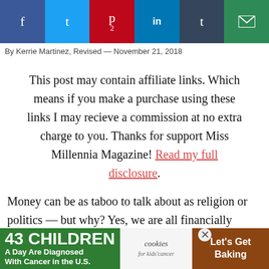[Figure (other): Social sharing bar with buttons: Facebook (blue), Twitter (light blue), Pinterest with count 2 (red), LinkedIn (dark blue), Tumblr (dark navy), Email (green)]
By Kerrie Martinez, Revised — November 21, 2018
This post may contain affiliate links. Which means if you make a purchase using these links I may recieve a commission at no extra charge to you. Thanks for support Miss Millennia Magazine! Read my full disclosure.
Money can be as taboo to talk about as religion or politics — but why? Yes, we are all financially flawed in some way. Yes, there is a stigma that money defines you. Yes, it feels really personal h
[Figure (other): Advertisement banner: '43 CHILDREN A Day Are Diagnosed With Cancer in the U.S.' with cookies for kids cancer logo and 'Let's Get Baking' text on brown background]